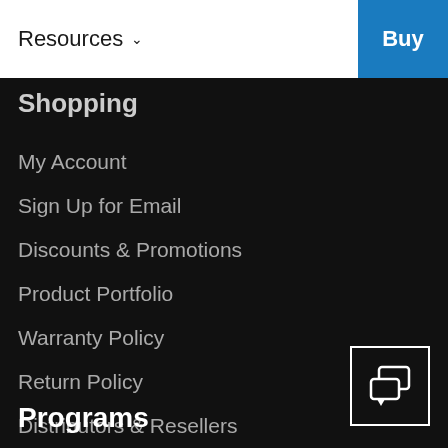Resources  Buy
Shopping
My Account
Sign Up for Email
Discounts & Promotions
Product Portfolio
Warranty Policy
Return Policy
Distributors & Resellers
Shopping FAQ
[Figure (illustration): Chat/messaging icon with two overlapping speech bubbles inside a square border]
Programs